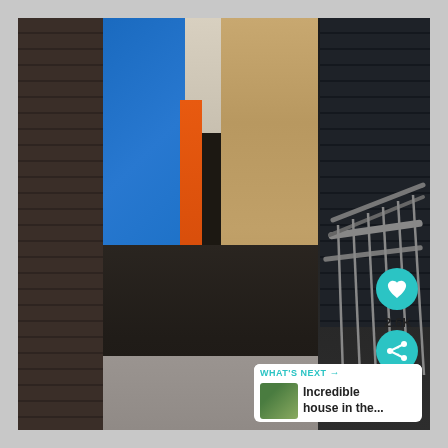[Figure (photo): Interior photograph of a modern hallway/corridor viewed from outside through an open doorway. The corridor features a bright blue sliding barn door panel on the left, an orange door panel visible behind it, warm wood-paneled walls on the right side, dark carpet flooring, and a white ceiling with track lighting. The exterior shows dark horizontal wood siding on both sides of the entry, a concrete threshold, and a metal cable stair railing on the right side.]
2.6K
WHAT'S NEXT → Incredible house in the...